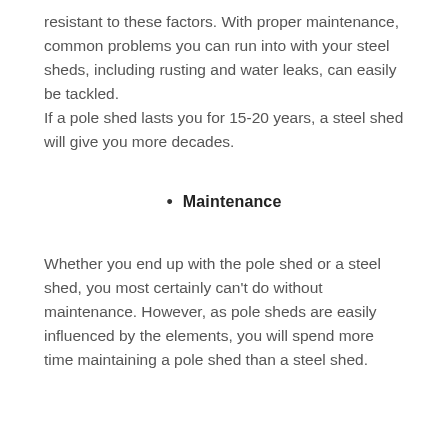resistant to these factors. With proper maintenance, common problems you can run into with your steel sheds, including rusting and water leaks, can easily be tackled.
If a pole shed lasts you for 15-20 years, a steel shed will give you more decades.
Maintenance
Whether you end up with the pole shed or a steel shed, you most certainly can't do without maintenance. However, as pole sheds are easily influenced by the elements, you will spend more time maintaining a pole shed than a steel shed.